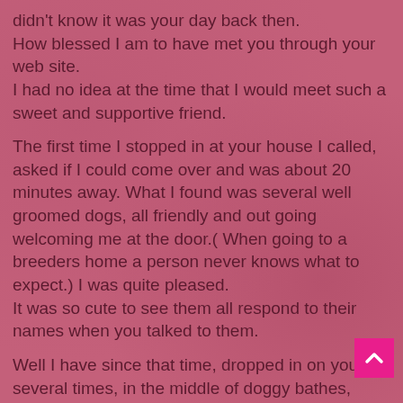didn't know it was your day back then.
How blessed I am to have met you through your web site.
I had no idea at the time that I would meet such a sweet and supportive friend.

The first time I stopped in at your house I called, asked if I could come over and was about 20 minutes away. What I found was several well groomed dogs, all friendly and out going welcoming me at the door.( When going to a breeders home a person never knows what to expect.) I was quite pleased.
It was so cute to see them all respond to their names when you talked to them.

Well I have since that time, dropped in on you several times, in the middle of doggy bathes, grooming and Jenettia running dogs to and from the vet for teeth cleanings and vaccinations. One thing is for sure, you love your dogs and they come first and live as part of your family, not locked up in a bunch of tiny kennels...
[Figure (other): Pink scroll-to-top button with upward chevron arrow in bottom-right corner]